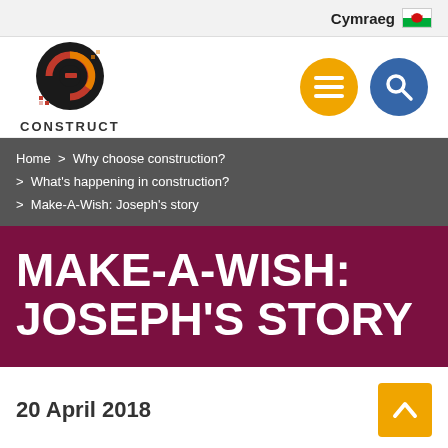Cymraeg
[Figure (logo): Go Construct logo with circular 'GO' icon and pixel/dot motif in red and gold, with 'CONSTRUCT' text below]
Home > Why choose construction? > What's happening in construction? > Make-A-Wish: Joseph's story
MAKE-A-WISH: JOSEPH'S STORY
20 April 2018